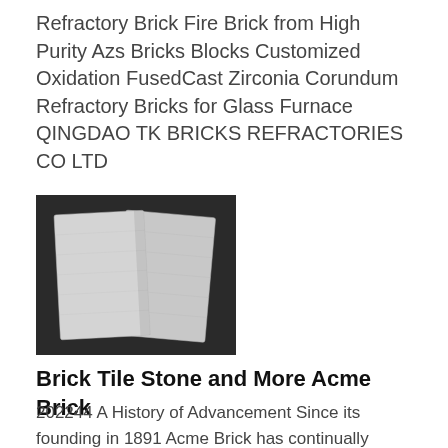Refractory Brick Fire Brick from High Purity Azs Bricks Blocks Customized Oxidation FusedCast Zirconia Corundum Refractory Bricks for Glass Furnace QINGDAO TK BRICKS REFRACTORIES CO LTD
[Figure (photo): Two light grey rectangular refractory bricks/tiles lying on a dark background, overlapping slightly.]
Brick Tile Stone and More Acme Brick
202244 A History of Advancement Since its founding in 1891 Acme Brick has continually advanced the art and science of brickmaking to make brick an affordable sustainable enduring and beautiful choice for Americas